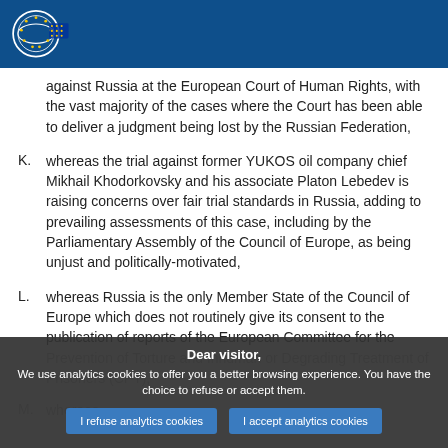European Parliament header bar with logo
against Russia at the European Court of Human Rights, with the vast majority of the cases where the Court has been able to deliver a judgment being lost by the Russian Federation,
K. whereas the trial against former YUKOS oil company chief Mikhail Khodorkovsky and his associate Platon Lebedev is raising concerns over fair trial standards in Russia, adding to prevailing assessments of this case, including by the Parliamentary Assembly of the Council of Europe, as being unjust and politically-motivated,
L. whereas Russia is the only Member State of the Council of Europe which does not routinely give its consent to the publication of reports of the European Committee for the Prevention of Torture and Inhuman or Degrading Treatment of Prisoners (CPT),
M. whereas...
Dear visitor, We use analytics cookies to offer you a better browsing experience. You have the choice to refuse or accept them.